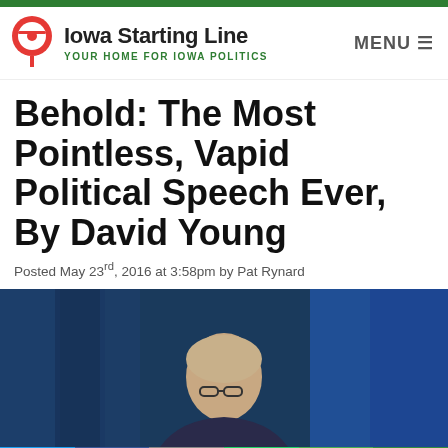Iowa Starting Line — YOUR HOME FOR IOWA POLITICS
Behold: The Most Pointless, Vapid Political Speech Ever, By David Young
Posted May 23rd, 2016 at 3:58pm by Pat Rynard
[Figure (photo): Photo of David Young speaking at a podium against a dark blue curtain background]
Social sharing buttons: Twitter, Facebook, Email, WhatsApp, SMS, More